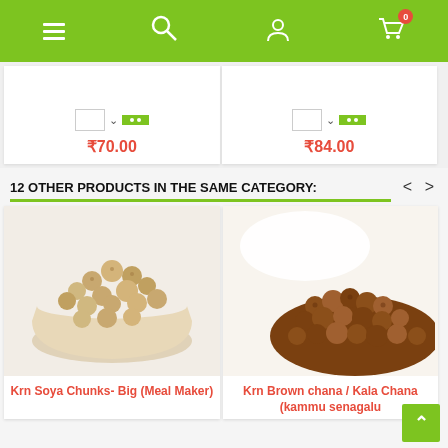[Figure (screenshot): Green navigation bar with hamburger menu, search, user, and cart icons (cart shows badge 0)]
[Figure (screenshot): Two product cards with quantity selector and add-to-cart button, prices ₹70.00 and ₹84.00]
12 OTHER PRODUCTS IN THE SAME CATEGORY:
[Figure (photo): Krn Soya Chunks- Big (Meal Maker) - photo of soya chunks in a glass bowl]
Krn Soya Chunks- Big (Meal Maker)
[Figure (photo): Krn Brown chana / Kala Chana (kammu senagalu) - photo of brown chana spilling from white bowl]
Krn Brown chana / Kala Chana (kammu senagalu)